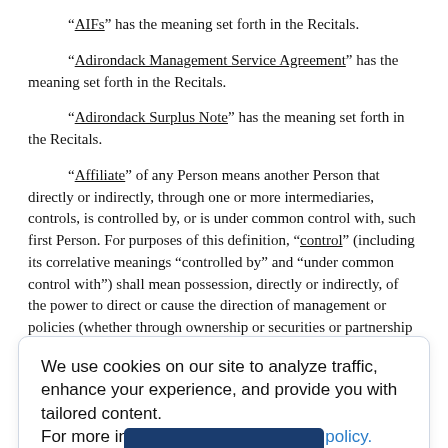“AIFs” has the meaning set forth in the Recitals.
“Adirondack Management Service Agreement” has the meaning set forth in the Recitals.
“Adirondack Surplus Note” has the meaning set forth in the Recitals.
“Affiliate” of any Person means another Person that directly or indirectly, through one or more intermediaries, controls, is controlled by, or is under common control with, such first Person. For purposes of this definition, “control” (including its correlative meanings “controlled by” and “under common control with”) shall mean possession, directly or indirectly, of the power to direct or cause the direction of management or policies (whether through ownership or securities or partnership or other ownership interests, by contract or
We use cookies on our site to analyze traffic, enhance your experience, and provide you with tailored content.
For more information visit our privacy policy.